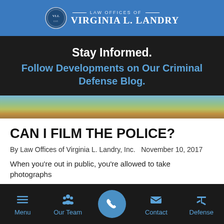Law Offices of Virginia L. Landry
Stay Informed. Follow Developments on Our Criminal Defense Blog.
[Figure (photo): Coastal landscape photo strip showing cliffs, vegetation, and beach]
CAN I FILM THE POLICE?
By Law Offices of Virginia L. Landry, Inc.  November 10, 2017
When you're out in public, you're allowed to take photographs
Menu  Our Team  [Call]  Contact  Defense